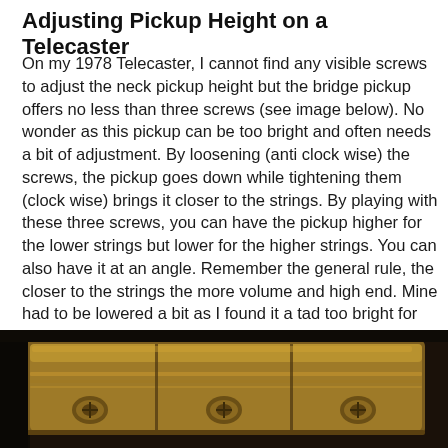Adjusting Pickup Height on a Telecaster
On my 1978 Telecaster, I cannot find any visible screws to adjust the neck pickup height but the bridge pickup offers no less than three screws (see image below). No wonder as this pickup can be too bright and often needs a bit of adjustment. By loosening (anti clock wise) the screws, the pickup goes down while tightening them (clock wise) brings it closer to the strings. By playing with these three screws, you can have the pickup higher for the lower strings but lower for the higher strings. You can also have it at an angle. Remember the general rule, the closer to the strings the more volume and high end. Mine had to be lowered a bit as I found it a tad too bright for clean work and a bit too rich in “ear piercing” harmonics. Update Feb 2012: refer to the Telecaster setup guide for official guidelines.
[Figure (photo): Close-up photo of a Telecaster guitar bridge pickup showing gold/brass colored metal hardware with screws, on a dark background.]